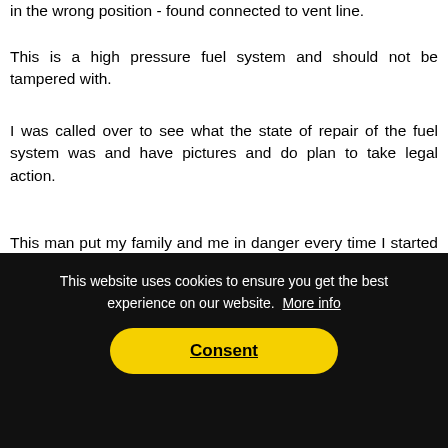in the wrong position - found connected to vent line.
This is a high pressure fuel system and should not be tampered with.
I was called over to see what the state of repair of the fuel system was and have pictures and do plan to take legal action.
This man put my family and me in danger every time I started that truck, it could have blown up. I could have been sitting in traffic with my children in the truck, [driving alongside someone and had a full load of gas and it could have] blown [up...] [he had pieced] together the fuel system.
This website uses cookies to ensure you get the best experience on our website. More info
Consent